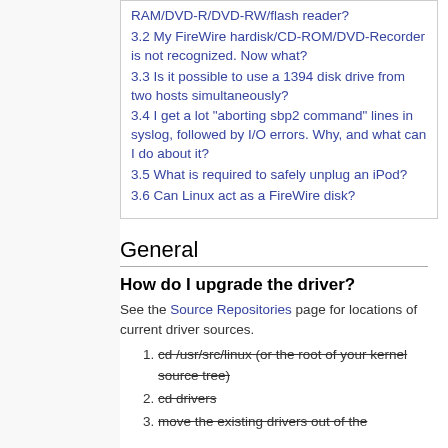3.1 How do I use my DVD-RAM/DVD-R/DVD-RW/flash reader?
3.2 My FireWire hardisk/CD-ROM/DVD-Recorder is not recognized. Now what?
3.3 Is it possible to use a 1394 disk drive from two hosts simultaneously?
3.4 I get a lot "aborting sbp2 command" lines in syslog, followed by I/O errors. Why, and what can I do about it?
3.5 What is required to safely unplug an iPod?
3.6 Can Linux act as a FireWire disk?
General
How do I upgrade the driver?
See the Source Repositories page for locations of current driver sources.
cd /usr/src/linux (or the root of your kernel source tree)
cd drivers
move the existing drivers out of the